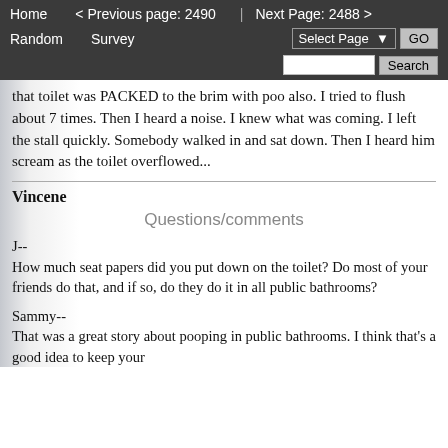Home   < Previous page: 2490   |   Next Page: 2488 >   Random   Survey   Select Page ▾   GO   Search
that toilet was PACKED to the brim with poo also. I tried to flush about 7 times. Then I heard a noise. I knew what was coming. I left the stall quickly. Somebody walked in and sat down. Then I heard him scream as the toilet overflowed...
Vincene
Questions/comments
J--
How much seat papers did you put down on the toilet? Do most of your friends do that, and if so, do they do it in all public bathrooms?
Sammy--
That was a great story about pooping in public bathrooms. I think that's a good idea to keep your